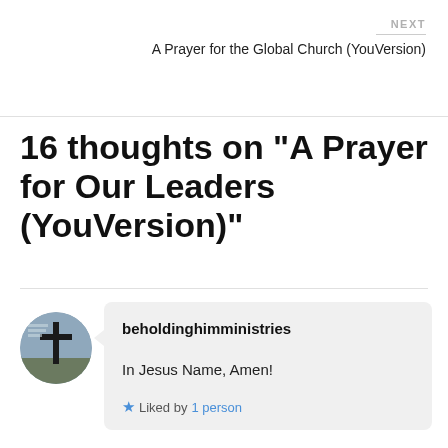NEXT
A Prayer for the Global Church (YouVersion)
16 thoughts on “A Prayer for Our Leaders (YouVersion)”
beholdinghimministries
In Jesus Name, Amen!
★ Liked by 1 person